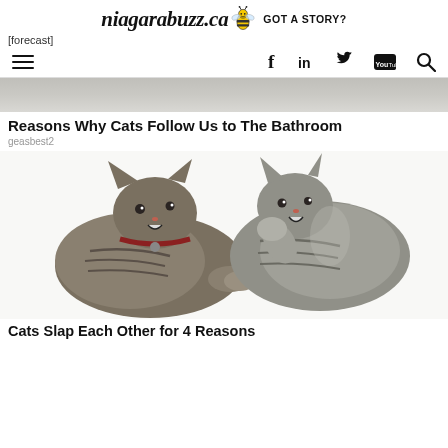niagarabuzz.ca GOT A STORY?
[forecast]
[Figure (screenshot): Navigation bar with hamburger menu icon on the left and social media icons (Facebook, LinkedIn, Twitter, YouTube, Search) on the right]
[Figure (photo): Partial photo of a bathroom scene, cropped at top]
Reasons Why Cats Follow Us to The Bathroom
geasbest2
[Figure (photo): Two tabby cats facing each other and slapping paws, on white background]
Cats Slap Each Other for 4 Reasons